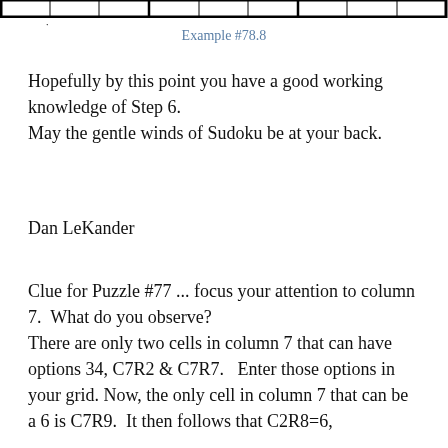[Figure (other): Top portion of a Sudoku grid showing the top row of cells with thick borders]
Example #78.8
Hopefully by this point you have a good working knowledge of Step 6.
May the gentle winds of Sudoku be at your back.
Dan LeKander
Clue for Puzzle #77 ... focus your attention to column 7.  What do you observe?
There are only two cells in column 7 that can have options 34, C7R2 & C7R7.  Enter those options in your grid. Now, the only cell in column 7 that can be a 6 is C7R9.  It then follows that C2R8=6,